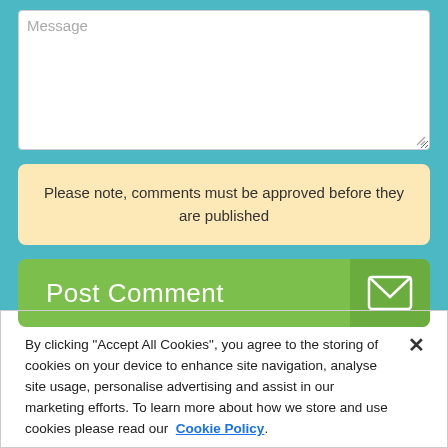[Figure (screenshot): Message textarea with placeholder text 'Message' inside a teal form container]
Please note, comments must be approved before they are published
Post Comment
By clicking “Accept All Cookies”, you agree to the storing of cookies on your device to enhance site navigation, analyse site usage, personalise advertising and assist in our marketing efforts. To learn more about how we store and use cookies please read our Cookie Policy.
Cookies Settings
Accept All Cookies